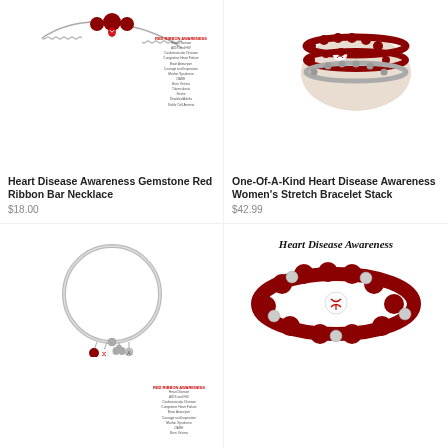[Figure (photo): Heart Disease Awareness Gemstone Red Ribbon Bar Necklace product photo with red ribbon info card]
[Figure (photo): One-Of-A-Kind Heart Disease Awareness Women's Stretch Bracelet Stack product photo]
Heart Disease Awareness Gemstone Red Ribbon Bar Necklace
$18.00
One-Of-A-Kind Heart Disease Awareness Women's Stretch Bracelet Stack
$42.99
[Figure (photo): Silver bangle bracelet with heart disease awareness charms and red bead, with ribbon info card]
[Figure (photo): Heart Disease Awareness beaded stretch bracelet with red ribbon charm bead, with Heart Disease Awareness text label]